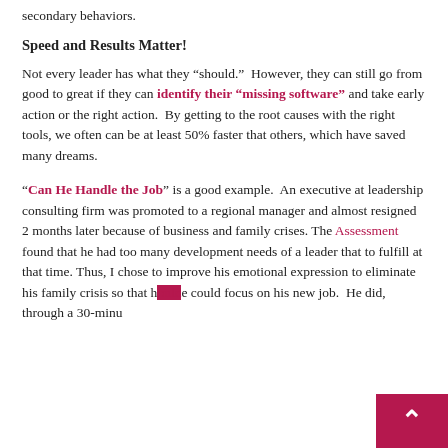secondary behaviors.
Speed and Results Matter!
Not every leader has what they “should.”  However, they can still go from good to great if they can identify their “missing software” and take early action or the right action.  By getting to the root causes with the right tools, we often can be at least 50% faster that others, which have saved many dreams.
“Can He Handle the Job” is a good example.  An executive at leadership consulting firm was promoted to a regional manager and almost resigned 2 months later because of business and family crises.  The Assessment found that he had too many development needs of a leader that to fulfill at that time.  Thus, I chose to improve his emotional expression to eliminate his family crisis so that he could focus on his new job.  He did, through a 30-minu